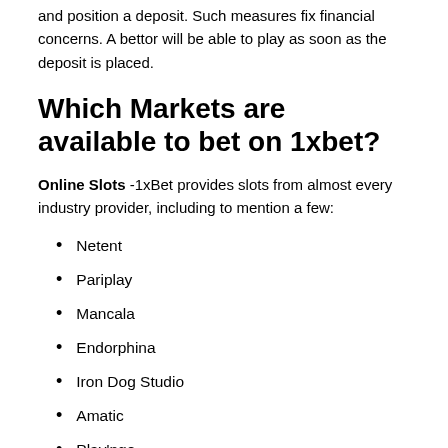and position a deposit. Such measures fix financial concerns. A bettor will be able to play as soon as the deposit is placed.
Which Markets are available to bet on 1xbet?
Online Slots -1xBet provides slots from almost every industry provider, including to mention a few:
Netent
Pariplay
Mancala
Endorphina
Iron Dog Studio
Amatic
Play'ngo
Pragmatic Play
Evoplay Entertainment